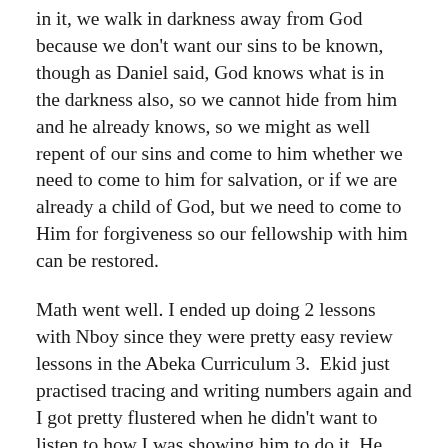in it, we walk in darkness away from God because we don't want our sins to be known, though as Daniel said, God knows what is in the darkness also, so we cannot hide from him and he already knows, so we might as well repent of our sins and come to him whether we need to come to him for salvation, or if we are already a child of God, but we need to come to Him for forgiveness so our fellowship with him can be restored.
Math went well. I ended up doing 2 lessons with Nboy since they were pretty easy review lessons in the Abeka Curriculum 3.  Ekid just practised tracing and writing numbers again and I got pretty flustered when he didn't want to listen to how I was showing him to do it. He likes to do things his own way, so he can be stubborn! But he finally wrote a couple of the numbers we worked on correctly and we stopped there.
Reading with Nboy was great, though he had a hard time